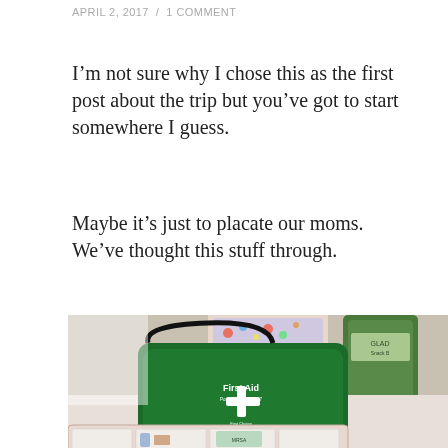APRIL 2, 2017  /  1 COMMENT
I’m not sure why I chose this as the first post about the trip but you’ve got to start somewhere I guess.
Maybe it’s just to placate our moms.  We’ve thought this stuff through.
[Figure (photo): A green First Aid kit bag (labeled 'First Aid Posters Regulation 7') sitting on top of a plastic organizer box filled with medical supplies. In the background are a colorful patterned box, a green container, and a yellow Glad bag.]